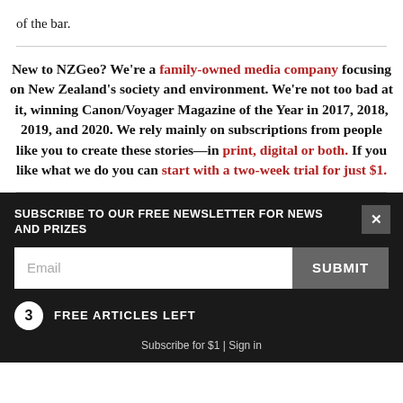of the bar.
New to NZGeo? We're a family-owned media company focusing on New Zealand's society and environment. We're not too bad at it, winning Canon/Voyager Magazine of the Year in 2017, 2018, 2019, and 2020. We rely mainly on subscriptions from people like you to create these stories—in print, digital or both. If you like what we do you can start with a two-week trial for just $1.
SUBSCRIBE TO OUR FREE NEWSLETTER FOR NEWS AND PRIZES
Email
SUBMIT
3 FREE ARTICLES LEFT
Subscribe for $1 | Sign in